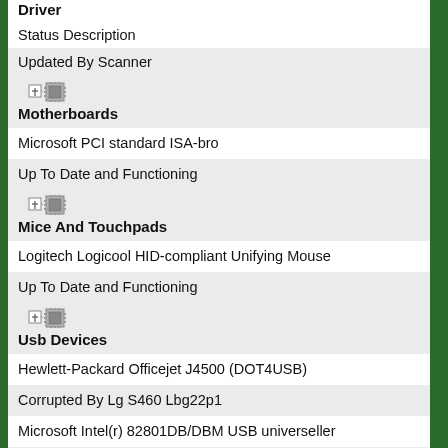Status Description
Updated By Scanner
[Figure (other): Expand/collapse icon with chip graphic for Motherboards section]
Motherboards
Microsoft PCI standard ISA-bro
Up To Date and Functioning
[Figure (other): Expand/collapse icon with chip graphic for Mice And Touchpads section]
Mice And Touchpads
Logitech Logicool HID-compliant Unifying Mouse
Up To Date and Functioning
[Figure (other): Expand/collapse icon with chip graphic for Usb Devices section]
Usb Devices
Hewlett-Packard Officejet J4500 (DOT4USB)
Corrupted By Lg S460 Lbg22p1
Microsoft Intel(r) 82801DB/DBM USB universeller
Hostcontroller - 24C2
Corrupted By Lg S460 Lbg22p1
Logitech Logitech Webcam Pro 9000